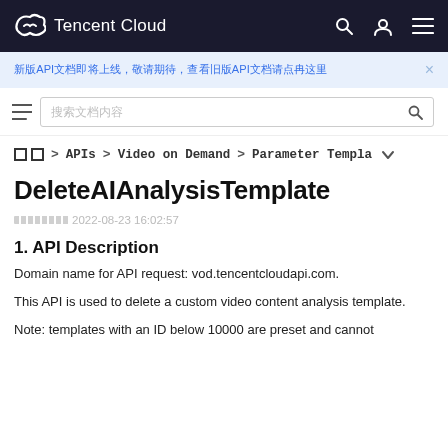Tencent Cloud
新版API文档即将上线，敬请期待，查看旧版API文档请点击这里
搜索文档内容
文档 > APIs > Video on Demand > Parameter Templa
DeleteAIAnalysisTemplate
最近更新时间：2022-08-23 16:02:57
1. API Description
Domain name for API request: vod.tencentcloudapi.com.
This API is used to delete a custom video content analysis template.
Note: templates with an ID below 10000 are preset and cannot